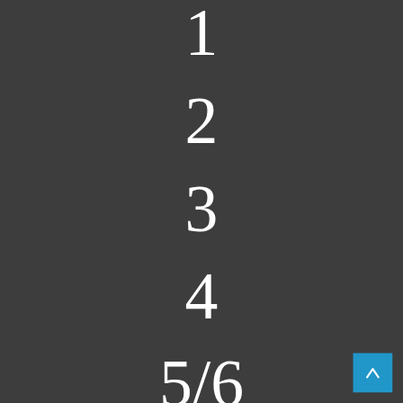1
2
3
4
5/6
Popular Posts & Pages
Alphabetical Index
G-A-B
D0, Re, Mi